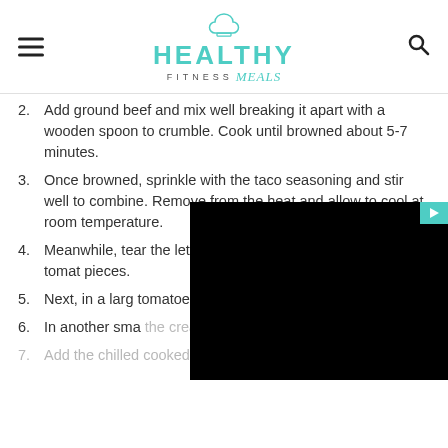HEALTHY FITNESS meals
2. Add ground beef and mix well breaking it apart with a wooden spoon to crumble. Cook until browned about 5-7 minutes.
3. Once browned, sprinkle with the taco seasoning and stir well to combine. Remove from the heat and allow to cool at room temperature.
4. Meanwhile, tear the lettuce into large pieces and dice the tomat[obscured] pieces.
5. Next, in a larg[obscured] tomatoes, onio[obscured] beans, and cru[obscured]
6. In another sma[obscured] the creamy dressing ingredients.
7. Add the chilled cooked beef to the salad and [obscured]